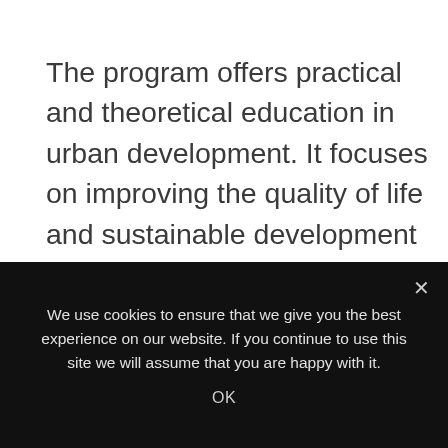The program offers practical and theoretical education in urban development. It focuses on improving the quality of life and sustainable development by applying science, technology, and methods to solve the problems. The skills required to respond to the rapidly changing conditions of the cities serve as the foundation of this urban planning program.
We use cookies to ensure that we give you the best experience on our website. If you continue to use this site we will assume that you are happy with it.
OK